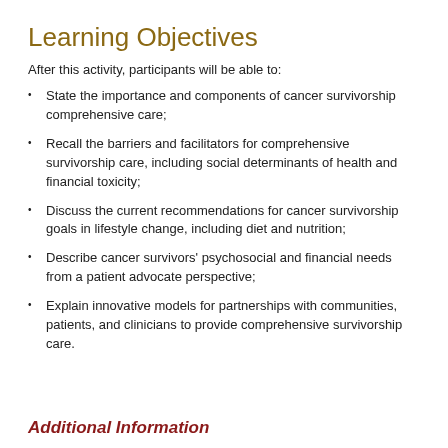Learning Objectives
After this activity, participants will be able to:
State the importance and components of cancer survivorship comprehensive care;
Recall the barriers and facilitators for comprehensive survivorship care, including social determinants of health and financial toxicity;
Discuss the current recommendations for cancer survivorship goals in lifestyle change, including diet and nutrition;
Describe cancer survivors' psychosocial and financial needs from a patient advocate perspective;
Explain innovative models for partnerships with communities, patients, and clinicians to provide comprehensive survivorship care.
Additional Information